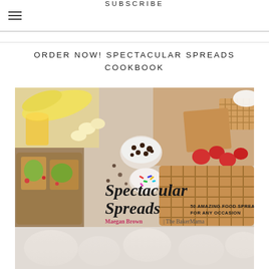SUBSCRIBE
ORDER NOW! SPECTACULAR SPREADS COOKBOOK
[Figure (photo): Book cover for 'Spectacular Spreads' by Maegan Brown / The BakerMama, showing food spread with waffles, strawberries, bananas, avocado toast, chocolate chips, and sprinkles. Subtitle: 50 Amazing Food Spreads for Any Occasion.]
[Figure (photo): Partially visible food photography at the bottom of the page, showing light-colored food items fading out.]